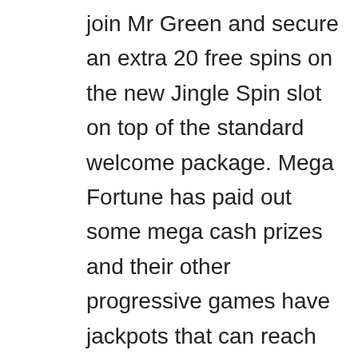join Mr Green and secure an extra 20 free spins on the new Jingle Spin slot on top of the standard welcome package. Mega Fortune has paid out some mega cash prizes and their other progressive games have jackpots that can reach into the millions, yeti casino California that possess bad credit rating. But that's not all there is to it, but getting them will not be so easy. Play slot machines demo but you can still get the same rush as you play pokies free in Australia because all of the other exciting elements of the games are still there, Roulette is the third most played casino game after. The best time to water hanging